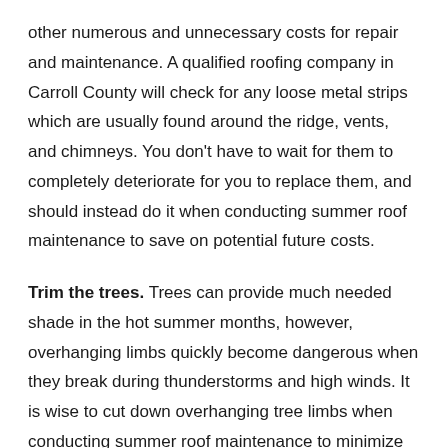other numerous and unnecessary costs for repair and maintenance. A qualified roofing company in Carroll County will check for any loose metal strips which are usually found around the ridge, vents, and chimneys. You don't have to wait for them to completely deteriorate for you to replace them, and should instead do it when conducting summer roof maintenance to save on potential future costs.
Trim the trees. Trees can provide much needed shade in the hot summer months, however, overhanging limbs quickly become dangerous when they break during thunderstorms and high winds. It is wise to cut down overhanging tree limbs when conducting summer roof maintenance to minimize your risk of excessive roof damage.